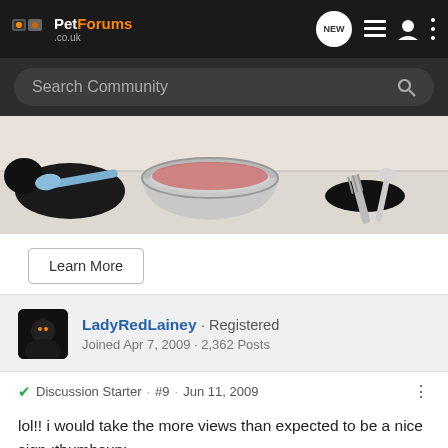PetForums .co.uk
Search Community
[Figure (photo): A black dog eating from a silver bowl on a white table, with blue cutlery on the left and a fork on the right]
Learn More
LadyRedLainey · Registered
Joined Apr 7, 2009 · 2,362 Posts
Discussion Starter · #9 · Jun 11, 2009
lol!! i would take the more views than expected to be a nice sign :thumbsup:

xx